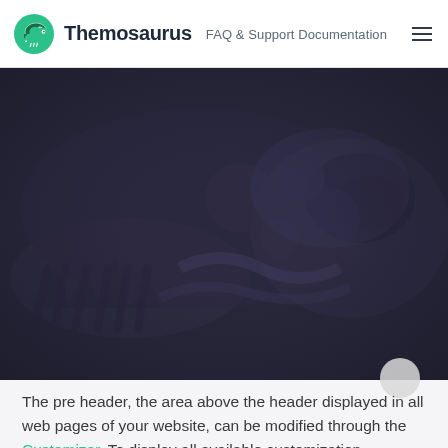Themosaurus FAQ & Support Documentation
[Figure (illustration): Dark overlay hero image showing a dinosaur skull/jaw with teeth, close-up view with dark navy blue tint overlay]
The pre header, the area above the header displayed in all web pages of your website, can be modified through the Customizer. To display all available customization